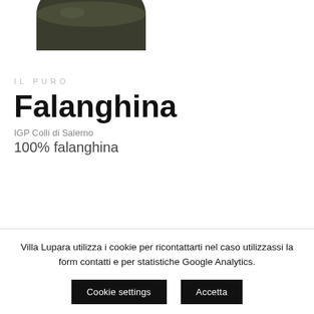[Figure (photo): Top portion of a dark green wine bottle, showing the bottom/base of the bottle as it appears cut off at the top of the page]
IL PURO
Falanghina
IGP Colli di Salerno
100% falanghina
Villa Lupara utilizza i cookie per ricontattarti nel caso utilizzassi la form contatti e per statistiche Google Analytics.
Cookie settings
Accetta